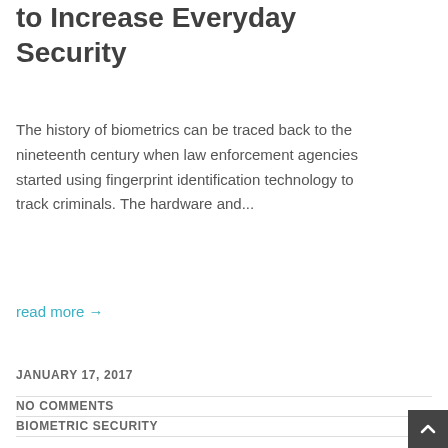to Increase Everyday Security
The history of biometrics can be traced back to the nineteenth century when law enforcement agencies started using fingerprint identification technology to track criminals. The hardware and...
read more →
JANUARY 17, 2017
NO COMMENTS
BIOMETRIC SECURITY